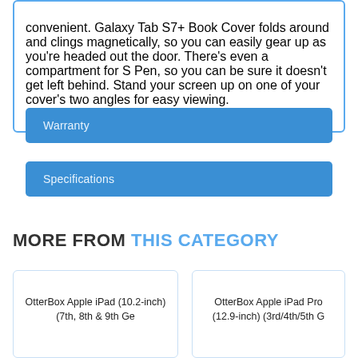convenient. Galaxy Tab S7+ Book Cover folds around and clings magnetically, so you can easily gear up as you're headed out the door. There's even a compartment for S Pen, so you can be sure it doesn't get left behind. Stand your screen up on one of your cover's two angles for easy viewing.
Warranty
Specifications
MORE FROM THIS CATEGORY
OtterBox Apple iPad (10.2-inch) (7th, 8th & 9th Ge
OtterBox Apple iPad Pro (12.9-inch) (3rd/4th/5th G